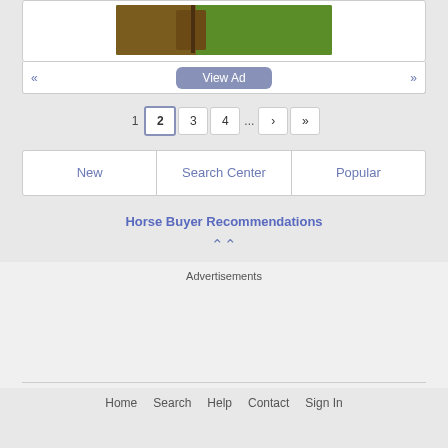[Figure (photo): Horse photo thumbnail in green field background]
View Ad
1  2  3  4  ...  >  >>
New   Search Center   Popular
Horse Buyer Recommendations
Advertisements
Home   Search   Help   Contact   Sign In